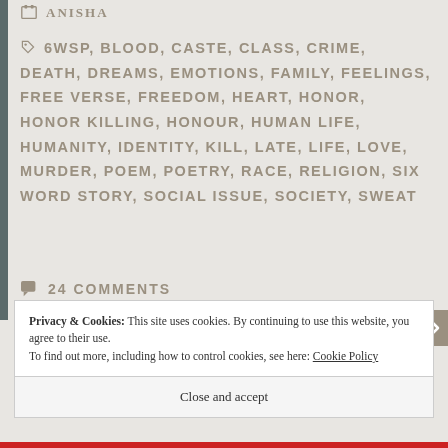ANISHA
6WSP, BLOOD, CASTE, CLASS, CRIME, DEATH, DREAMS, EMOTIONS, FAMILY, FEELINGS, FREE VERSE, FREEDOM, HEART, HONOR, HONOR KILLING, HONOUR, HUMAN LIFE, HUMANITY, IDENTITY, KILL, LATE, LIFE, LOVE, MURDER, POEM, POETRY, RACE, RELIGION, SIX WORD STORY, SOCIAL ISSUE, SOCIETY, SWEAT
24 COMMENTS
Privacy & Cookies: This site uses cookies. By continuing to use this website, you agree to their use.
To find out more, including how to control cookies, see here: Cookie Policy
Close and accept